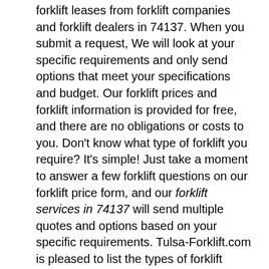forklift leases from forklift companies and forklift dealers in 74137. When you submit a request, We will look at your specific requirements and only send options that meet your specifications and budget. Our forklift prices and forklift information is provided for free, and there are no obligations or costs to you. Don't know what type of forklift you require? It's simple! Just take a moment to answer a few forklift questions on our forklift price form, and our forklift services in 74137 will send multiple quotes and options based on your specific requirements. Tulsa-Forklift.com is pleased to list the types of forklift services our partners offer, and forklift services available in 74137. Please submit your forklift request today. We look forward to earning your business and saving you money!